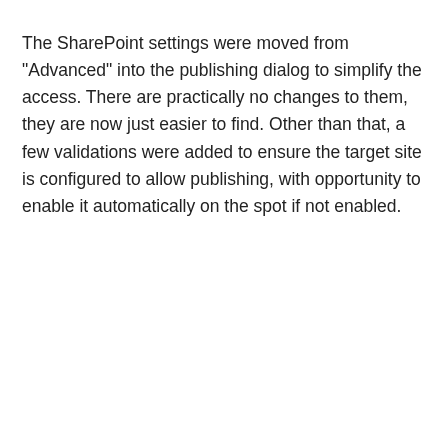The SharePoint settings were moved from "Advanced" into the publishing dialog to simplify the access. There are practically no changes to them, they are now just easier to find. Other than that, a few validations were added to ensure the target site is configured to allow publishing, with opportunity to enable it automatically on the spot if not enabled.